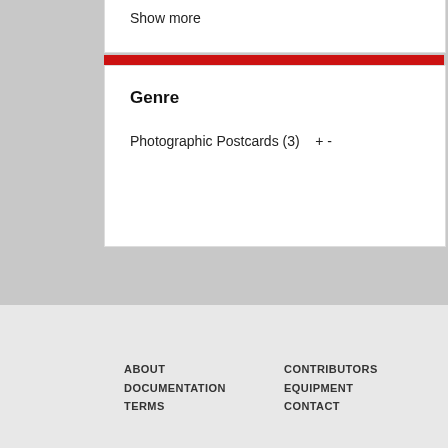Show more
Genre
Photographic Postcards (3)  + -
ABOUT  CONTRIBUTORS
DOCUMENTATION  EQUIPMENT
TERMS  CONTACT